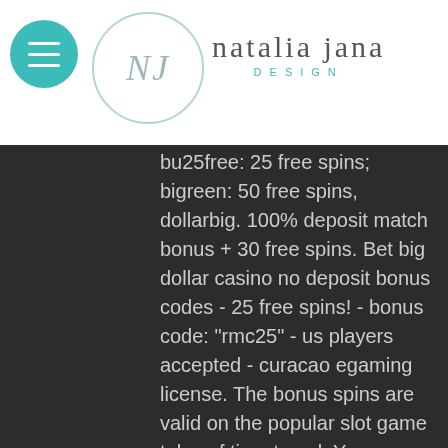natalia jana DESIGN
bu25free: 25 free spins; bigreen: 50 free spins, dollarbig. 100% deposit match bonus + 30 free spins. Bet big dollar casino no deposit bonus codes - 25 free spins! - bonus code: "rmc25" - us players accepted - curacao egaming license. The bonus spins are valid on the popular slot game tales of time travel. You can cash out up to $100 using the free spins. The wagering requirements are x40 for. 25 free spins on traces of evidence slot. Wagering required:60x b max cashout:$100 claim instructions:request at cashier. Still hungry for free chips and/or free spins? here comes more exclusive promotions to big dollar online casino: 100 free spins on wolf street (click here); 80 Get your $500 bucks free at big dollar casino when you sign up and make